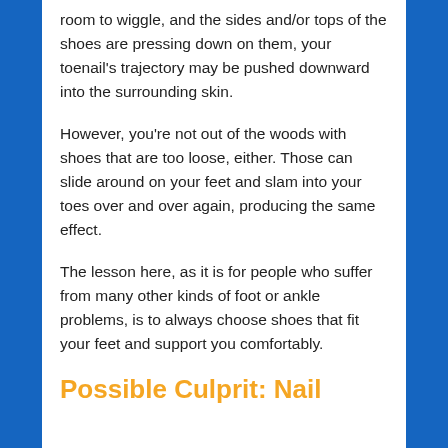room to wiggle, and the sides and/or tops of the shoes are pressing down on them, your toenail's trajectory may be pushed downward into the surrounding skin.
However, you're not out of the woods with shoes that are too loose, either. Those can slide around on your feet and slam into your toes over and over again, producing the same effect.
The lesson here, as it is for people who suffer from many other kinds of foot or ankle problems, is to always choose shoes that fit your feet and support you comfortably.
Possible Culprit: Nail